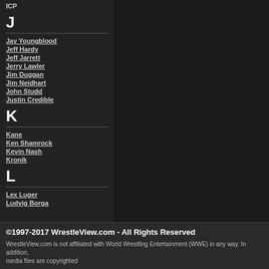ICP
J
Jay Youngblood
Jeff Hardy
Jeff Jarrett
Jerry Lawler
Jim Duggan
Jim Neidhart
John Studd
Justin Credible
K
Kane
Ken Shamrock
Kevin Nash
Kronik
L
Lex Luger
Ludvig Borga
©1997-2017 WrestleView.com - All Rights Reserved
WrestleView.com is not affiliated with World Wrestling Entertainment (WWE) in any way. In addition, media files are copyrighted